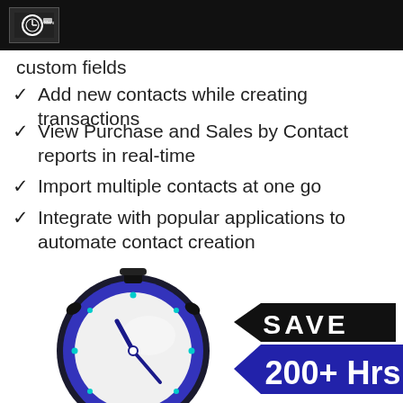[Figure (logo): Dark header bar with small company logo (white icon on dark background)]
custom fields
✓  Add new contacts while creating transactions
✓  View Purchase and Sales by Contact reports in real-time
✓  Import multiple contacts at one go
✓  Integrate with popular applications to automate contact creation
[Figure (infographic): Stopwatch graphic with banner showing 'SAVE' on dark ribbon and '200+ Hrs' on blue banner below]